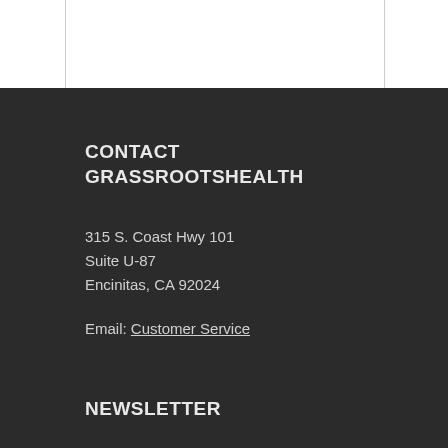CONTACT GRASSROOTSHEALTH
315 S. Coast Hwy 101
Suite U-87
Encinitas, CA 92024
Email: Customer Service
NEWSLETTER